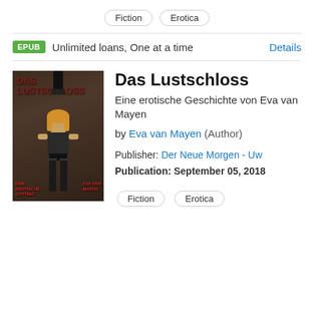Fiction   Erotica
EPUB  Unlimited loans, One at a time  Details
[Figure (illustration): Book cover of Das Lustschloss showing a woman in leather outfit with red title text at top]
Das Lustschloss
Eine erotische Geschichte von Eva van Mayen
by Eva van Mayen (Author)
Publisher: Der Neue Morgen - Uw
Publication: September 05, 2018
Fiction   Erotica